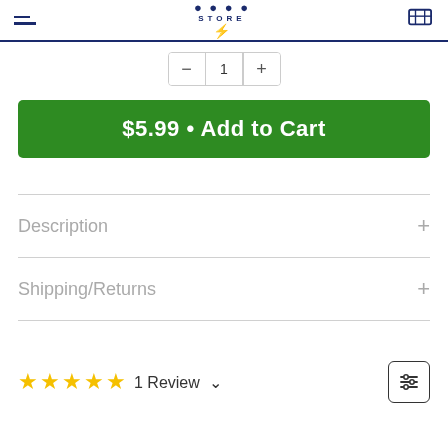STORE
[Figure (screenshot): Quantity selector with minus and plus buttons]
$5.99 • Add to Cart
Description
Shipping/Returns
★★★★★ 1 Review